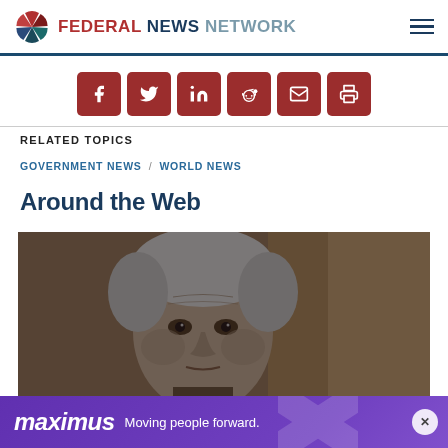FEDERAL NEWS NETWORK
[Figure (infographic): Social sharing buttons: Facebook, Twitter, LinkedIn, Reddit, Email, Print — dark red rounded squares]
RELATED TOPICS
GOVERNMENT NEWS / WORLD NEWS
Around the Web
[Figure (photo): Photo of an older man with gray hair, close-up face shot in dim lighting]
[Figure (infographic): Maximus advertisement banner — Moving people forward.]